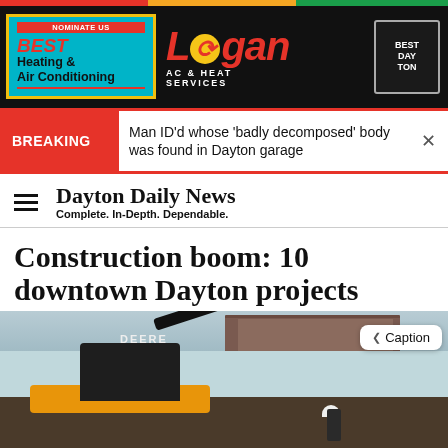[Figure (photo): Advertisement banner for Logan AC & Heat Services with 'Best Heating & Air Conditioning' nomination text on dark background]
BREAKING  Man ID'd whose 'badly decomposed' body was found in Dayton garage
Dayton Daily News — Complete. In-Depth. Dependable.
Construction boom: 10 downtown Dayton projects
[Figure (photo): Construction scene with a John Deere excavator working at a downtown Dayton site, a worker in a hard hat, colorful mural wall in the background, and brick buildings visible. A 'Caption' button overlay appears in the top right.]